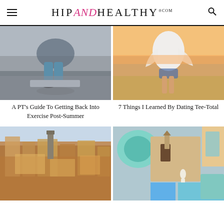HIP AND HEALTHY .com
[Figure (photo): Woman in blue leggings tying black sneakers on outdoor stone bench]
[Figure (photo): Woman in white flowy top and denim shorts on a sandy beach at sunset]
A PT's Guide To Getting Back Into Exercise Post-Summer
7 Things I Learned By Dating Tee-Total
[Figure (photo): Aerial view of a European city with red-roofed buildings]
[Figure (photo): Collage of travel photos: blue pool, stone building, interior room with teal furniture]